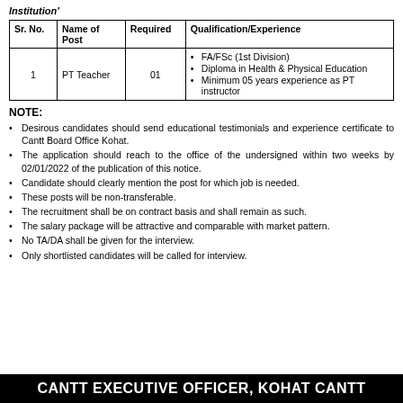Institution'
| Sr. No. | Name of Post | Required | Qualification/Experience |
| --- | --- | --- | --- |
| 1 | PT Teacher | 01 | FA/FSc (1st Division)
Diploma in Health & Physical Education
Minimum 05 years experience as PT instructor |
NOTE:
Desirous candidates should send educational testimonials and experience certificate to Cantt Board Office Kohat.
The application should reach to the office of the undersigned within two weeks by 02/01/2022 of the publication of this notice.
Candidate should clearly mention the post for which job is needed.
These posts will be non-transferable.
The recruitment shall be on contract basis and shall remain as such.
The salary package will be attractive and comparable with market pattern.
No TA/DA shall be given for the interview.
Only shortlisted candidates will be called for interview.
CANTT EXECUTIVE OFFICER, KOHAT CANTT